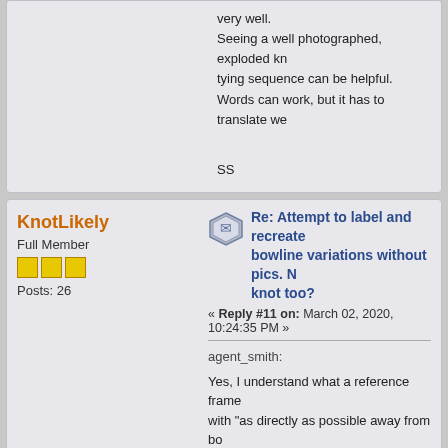very well. Seeing a well photographed, exploded kn tying sequence can be helpful. Words can work, but it has to translate we
SS
KnotLikely
Full Member
Posts: 26
Re: Attempt to label and recreate bowline variations without pics. N knot too?
« Reply #11 on: March 02, 2020, 10:24:35 PM »
agent_smith:
Yes, I understand what a reference frame with "as directly as possible away from bo collar"?  Why do we need to be increasing harness will be just as satisfied with them reference frame?  Given that the languag convoluted, I would argue that most peop
I could go ahead and make those change I define them, the more long winded it wi through the whole thing if it quadruples i having both the list of nipping loops and